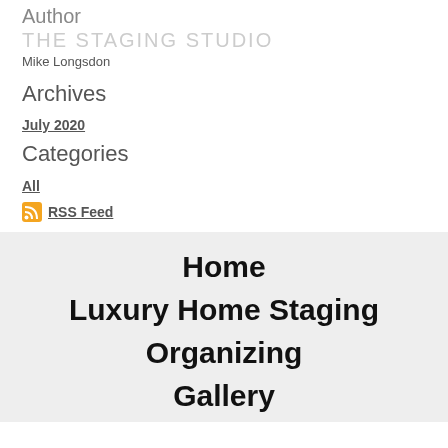Author
THE STAGING STUDIO
Mike Longsdon
Archives
July 2020
Categories
All
RSS Feed
Home
Luxury Home Staging
Organizing
Gallery